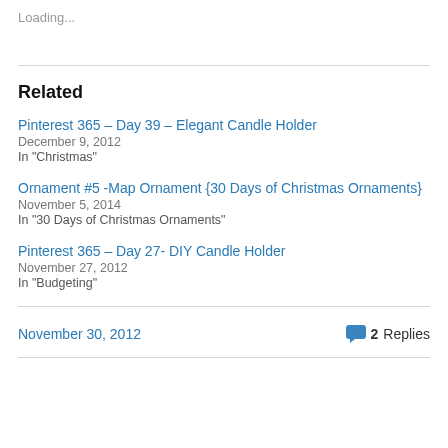Loading...
Related
Pinterest 365 – Day 39 – Elegant Candle Holder
December 9, 2012
In "Christmas"
Ornament #5 -Map Ornament {30 Days of Christmas Ornaments}
November 5, 2014
In "30 Days of Christmas Ornaments"
Pinterest 365 – Day 27- DIY Candle Holder
November 27, 2012
In "Budgeting"
November 30, 2012
2 Replies